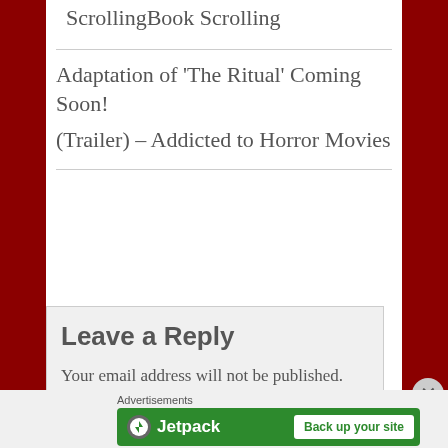ScrollingBook Scrolling
Adaptation of ‘The Ritual’ Coming Soon!
(Trailer) – Addicted to Horror Movies
Leave a Reply
Your email address will not be published. Required fields are marked *
Comment *
[Figure (other): Jetpack advertisement banner with 'Back up your site' button]
Advertisements